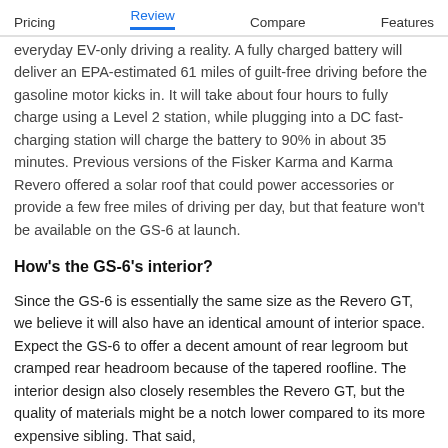Pricing  Review  Compare  Features
everyday EV-only driving a reality. A fully charged battery will deliver an EPA-estimated 61 miles of guilt-free driving before the gasoline motor kicks in. It will take about four hours to fully charge using a Level 2 station, while plugging into a DC fast-charging station will charge the battery to 90% in about 35 minutes. Previous versions of the Fisker Karma and Karma Revero offered a solar roof that could power accessories or provide a few free miles of driving per day, but that feature won't be available on the GS-6 at launch.
How's the GS-6's interior?
Since the GS-6 is essentially the same size as the Revero GT, we believe it will also have an identical amount of interior space. Expect the GS-6 to offer a decent amount of rear legroom but cramped rear headroom because of the tapered roofline. The interior design also closely resembles the Revero GT, but the quality of materials might be a notch lower compared to its more expensive sibling. That said,